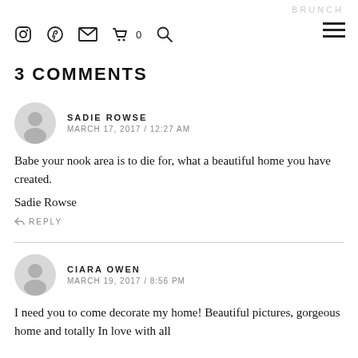BRUNCH — navigation icons: Instagram, Pinterest, Email, Cart 0, Search, Hamburger menu
3 COMMENTS
SADIE ROWSE
MARCH 17, 2017 / 12:27 AM

Babe your nook area is to die for, what a beautiful home you have created.

Sadie Rowse

REPLY
CIARA OWEN
MARCH 19, 2017 / 8:56 PM

I need you to come decorate my home! Beautiful pictures, gorgeous home and totally In love with all